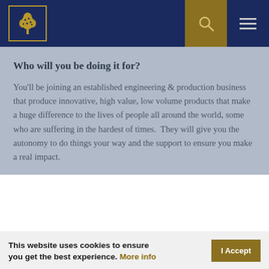[Figure (logo): Gold tree logo in a gold-bordered box on a dark navy header bar with search and menu icons]
Who will you be doing it for?
You'll be joining an established engineering & production business that produce innovative, high value, low volume products that make a huge difference to the lives of people all around the world, some who are suffering in the hardest of times.  They will give you the autonomy to do things your way and the support to ensure you make a real impact.
This website uses cookies to ensure you get the best experience. More info